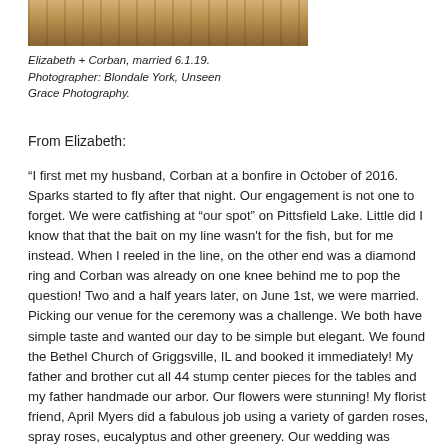[Figure (photo): Cropped bottom portion of a wedding photo showing wooden chairs or pews in warm golden tones]
Elizabeth + Corban, married 6.1.19. Photographer: Blondale York, Unseen Grace Photography.
From Elizabeth:
“I first met my husband, Corban at a bonfire in October of 2016. Sparks started to fly after that night. Our engagement is not one to forget. We were catfishing at “our spot” on Pittsfield Lake. Little did I know that that the bait on my line wasn’t for the fish, but for me instead. When I reeled in the line, on the other end was a diamond ring and Corban was already on one knee behind me to pop the question! Two and a half years later, on June 1st, we were married. Picking our venue for the ceremony was a challenge. We both have simple taste and wanted our day to be simple but elegant. We found the Bethel Church of Griggsville, IL and booked it immediately! My father and brother cut all 44 stump center pieces for the tables and my father handmade our arbor. Our flowers were stunning! My florist friend, April Myers did a fabulous job using a variety of garden roses, spray roses, eucalyptus and other greenery. Our wedding was everything we wanted it to be. Beautiful, simple, elegant and...